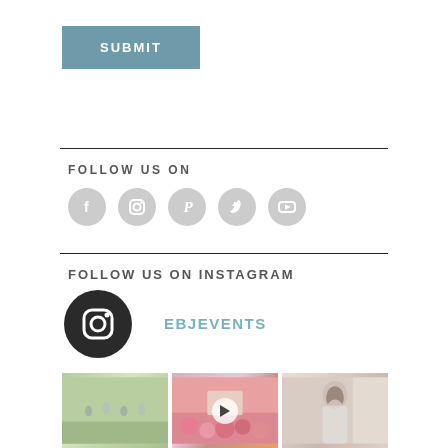SUBMIT
FOLLOW US ON
[Figure (infographic): Row of 5 social media icon circles: Facebook, Instagram, Pinterest, Twitter, YouTube]
FOLLOW US ON INSTAGRAM
[Figure (logo): Large dark circular Instagram logo icon]
EBJEVENTS
[Figure (photo): Three Instagram photo thumbnails: wedding ceremony, cake with flowers (video), and bride getting hair done]